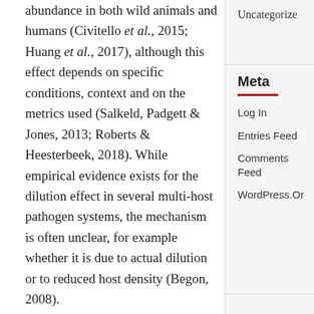abundance in both wild animals and humans (Civitello et al., 2015; Huang et al., 2017), although this effect depends on specific conditions, context and on the metrics used (Salkeld, Padgett & Jones, 2013; Roberts & Heesterbeek, 2018). While empirical evidence exists for the dilution effect in several multi-host pathogen systems, the mechanism is often unclear, for example whether it is due to actual dilution or to reduced host density (Begon, 2008).
Uncategorized
Meta
Log In
Entries Feed
Comments Feed
WordPress.Org